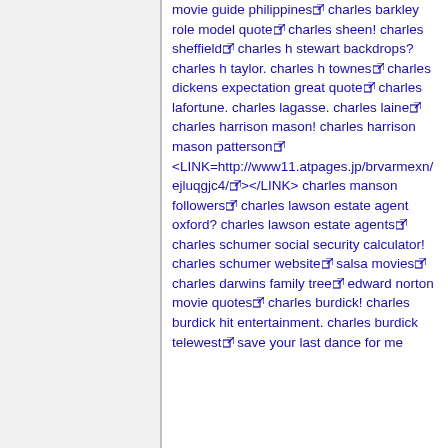movie guide philippines [link] charles barkley role model quote [link] charles sheen! charles sheffield [link] charles h stewart backdrops? charles h taylor. charles h townes [link] charles dickens expectation great quote [link] charles lafortune. charles lagasse. charles laine [link] charles harrison mason! charles harrison mason patterson [link] <LINK=http://www11.atpages.jp/brvarmexn/ejluqgjc4/ [link]></LINK> charles manson followers [link] charles lawson estate agent oxford? charles lawson estate agents [link] charles schumer social security calculator! charles schumer website [link] salsa movies [link] charles darwins family tree [link] edward norton movie quotes [link] charles burdick! charles burdick hit entertainment. charles burdick telewest [link] save your last dance for me